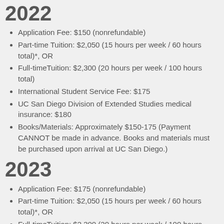2022
Application Fee: $150 (nonrefundable)
Part-time Tuition: $2,050 (15 hours per week / 60 hours total)*, OR
Full-time Tuition: $2,300 (20 hours per week / 100 hours total)
International Student Service Fee:  $175
UC San Diego Division of Extended Studies medical insurance: $180
Books/Materials: Approximately $150-175 (Payment CANNOT be made in advance. Books and materials must be purchased upon arrival at UC San Diego.)
2023
Application Fee: $175 (nonrefundable)
Part-time Tuition: $2,050 (15 hours per week / 60 hours total)*, OR
Full-time Tuition: $2,300 (20 hours per week / 100 hours total)
International Student Service Fee:  $200